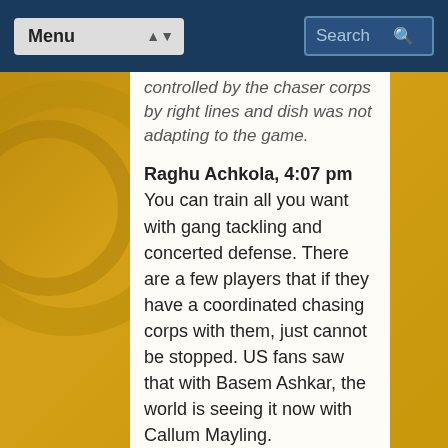Menu | Search
controlled by the chaser corps by right lines and dish was not adapting to the game.
Raghu Achkola, 4:07 pm You can train all you want with gang tackling and concerted defense. There are a few players that if they have a coordinated chasing corps with them, just cannot be stopped. US fans saw that with Basem Ashkar, the world is seeing it now with Callum Mayling.
Tad Walters, 4:07 pm: I disagree. I think we get that with Trudeau at keeper and honestly Trudeau uses his size with more technique at seeker than Andrews does. If it's my call I keep Andrews off roster all weekend.
Joshua Mansfield, 4:07 pm: US needs to get their no bludger chemistry down better. We look stunned at the beginning that their chasers